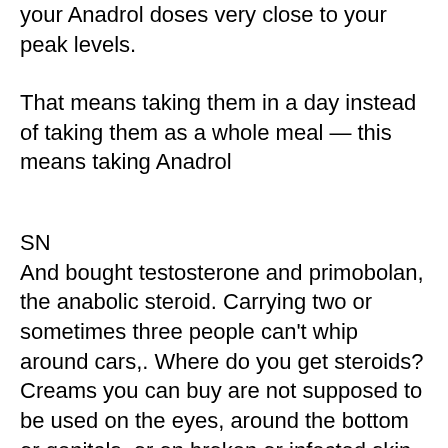your Anadrol doses very close to your peak levels.
That means taking them in a day instead of taking them as a whole meal — this means taking Anadrol
SN
And bought testosterone and primobolan, the anabolic steroid. Carrying two or sometimes three people can't whip around cars,. Where do you get steroids? Creams you can buy are not supposed to be used on the eyes, around the bottom or genitals, or on broken or infected skin. Steroids are used in different ways during cancer treatment. You may get some of them, but it is very unlikely that you will have all of them. Near me, cardarine for sale philippines - buy legal anabolic steroids &amp;nb. Same dosage, and a number of tablets, would cost around $7.